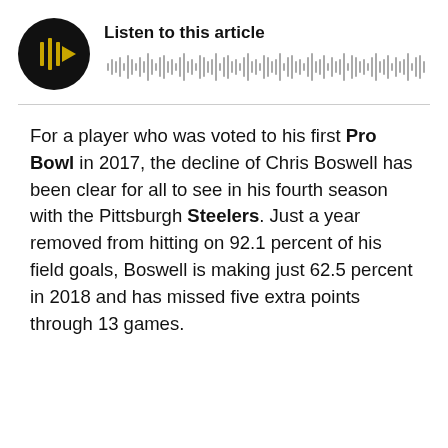[Figure (other): Audio player widget with black circular play button showing yellow forward/play icon and waveform visualization beside title 'Listen to this article']
For a player who was voted to his first Pro Bowl in 2017, the decline of Chris Boswell has been clear for all to see in his fourth season with the Pittsburgh Steelers. Just a year removed from hitting on 92.1 percent of his field goals, Boswell is making just 62.5 percent in 2018 and has missed five extra points through 13 games.